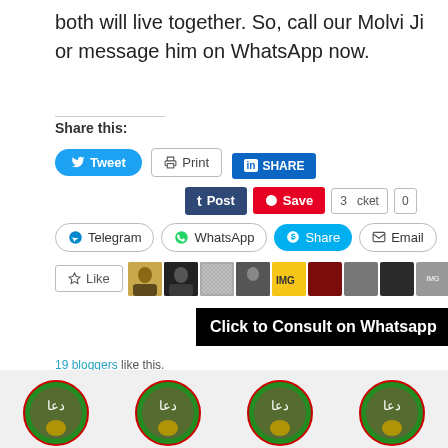both will live together. So, call our Molvi Ji or message him on WhatsApp now.
Share this:
[Figure (screenshot): Social share buttons: Tweet, Print, LinkedIn SHARE, Tumblr Post, Pinterest Save, Pocket (3 / 0), Telegram, WhatsApp, Skype Share, Email]
[Figure (infographic): Click to Consult on Whatsapp banner overlay]
19 bloggers like this.
[Figure (illustration): Four dua/prayer circular icons at bottom of page]